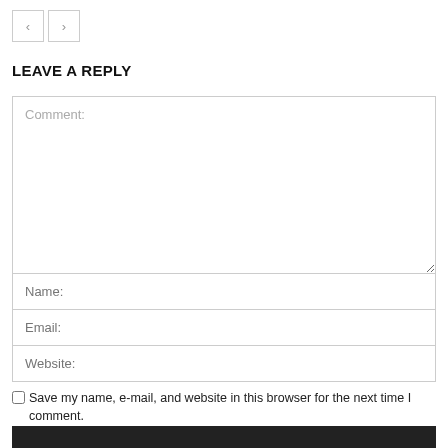[Figure (other): Navigation buttons with left arrow and right arrow]
LEAVE A REPLY
Comment: (text area placeholder)
Name: (input placeholder)
Email: (input placeholder)
Website: (input placeholder)
Save my name, e-mail, and website in this browser for the next time I comment.